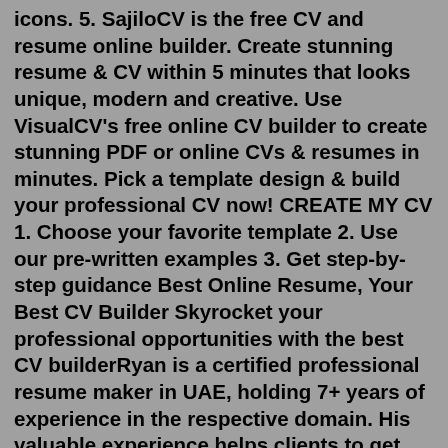icons. 5. SajiloCV is the free CV and resume online builder. Create stunning resume & CV within 5 minutes that looks unique, modern and creative. Use VisualCV's free online CV builder to create stunning PDF or online CVs & resumes in minutes. Pick a template design & build your professional CV now! CREATE MY CV 1. Choose your favorite template 2. Use our pre-written examples 3. Get step-by-step guidance Best Online Resume, Your Best CV Builder Skyrocket your professional opportunities with the best CV builderRyan is a certified professional resume maker in UAE, holding 7+ years of experience in the respective domain. His valuable experience helps clients to get their hands on value-rich career equipment that enables them to embrace success. Eric Eric is one of the best CV writers in UAE with precious experience of 7+ years in the field.Once you download our resume/cv template, you will get a pack of documents which helps you to update the resume template. It's very easy and simple to edit or